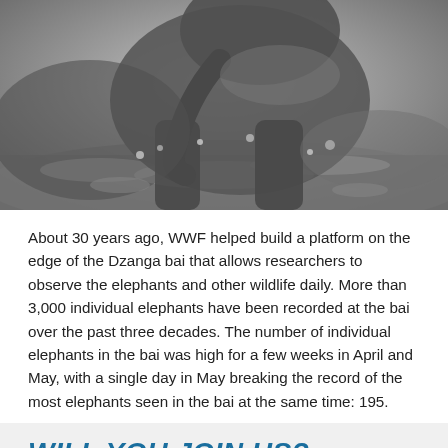[Figure (photo): Black and white photograph of an elephant in water or mud at the Dzanga bai, splashing through the muddy water with its trunk visible]
About 30 years ago, WWF helped build a platform on the edge of the Dzanga bai that allows researchers to observe the elephants and other wildlife daily. More than 3,000 individual elephants have been recorded at the bai over the past three decades. The number of individual elephants in the bai was high for a few weeks in April and May, with a single day in May breaking the record of the most elephants seen in the bai at the same time: 195.
WILL YOU JOIN US?